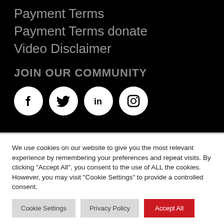Payment Terms
Payment Terms donate
Video Disclaimer
JOIN OUR COMMUNITY
[Figure (illustration): Four social media icons in white circles on black background: Facebook, Twitter, LinkedIn, Instagram]
We use cookies on our website to give you the most relevant experience by remembering your preferences and repeat visits. By clicking "Accept All", you consent to the use of ALL the cookies. However, you may visit "Cookie Settings" to provide a controlled consent.
Cookie Settings | Privacy Policy | Accept All